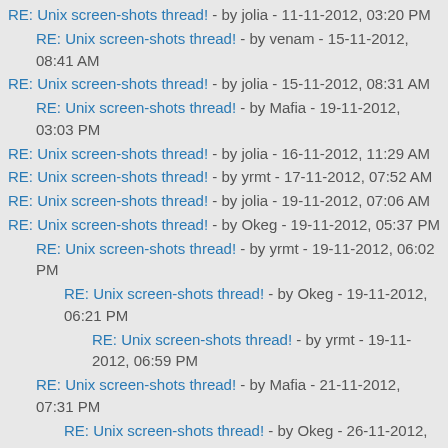RE: Unix screen-shots thread! - by jolia - 11-11-2012, 03:20 PM
RE: Unix screen-shots thread! - by venam - 15-11-2012, 08:41 AM
RE: Unix screen-shots thread! - by jolia - 15-11-2012, 08:31 AM
RE: Unix screen-shots thread! - by Mafia - 19-11-2012, 03:03 PM
RE: Unix screen-shots thread! - by jolia - 16-11-2012, 11:29 AM
RE: Unix screen-shots thread! - by yrmt - 17-11-2012, 07:52 AM
RE: Unix screen-shots thread! - by jolia - 19-11-2012, 07:06 AM
RE: Unix screen-shots thread! - by Okeg - 19-11-2012, 05:37 PM
RE: Unix screen-shots thread! - by yrmt - 19-11-2012, 06:02 PM
RE: Unix screen-shots thread! - by Okeg - 19-11-2012, 06:21 PM
RE: Unix screen-shots thread! - by yrmt - 19-11-2012, 06:59 PM
RE: Unix screen-shots thread! - by Mafia - 21-11-2012, 07:31 PM
RE: Unix screen-shots thread! - by Okeg - 26-11-2012,